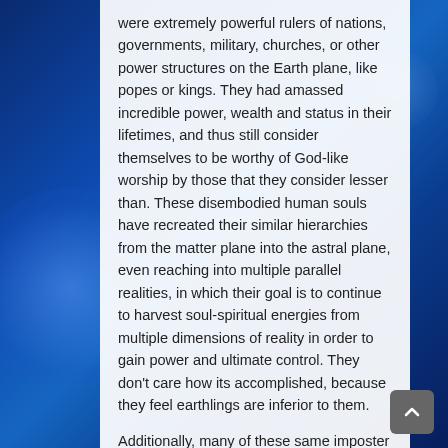were extremely powerful rulers of nations, governments, military, churches, or other power structures on the Earth plane, like popes or kings. They had amassed incredible power, wealth and status in their lifetimes, and thus still consider themselves to be worthy of God-like worship by those that they consider lesser than. These disembodied human souls have recreated their similar hierarchies from the matter plane into the astral plane, even reaching into multiple parallel realities, in which their goal is to continue to harvest soul-spiritual energies from multiple dimensions of reality in order to gain power and ultimate control. They don't care how its accomplished, because they feel earthlings are inferior to them.
Additionally, many of these same imposter spirits that were human incarnates are being exploited by higher dimensional nonhuman entities, or NAA forces that promote spiritually abusive belief